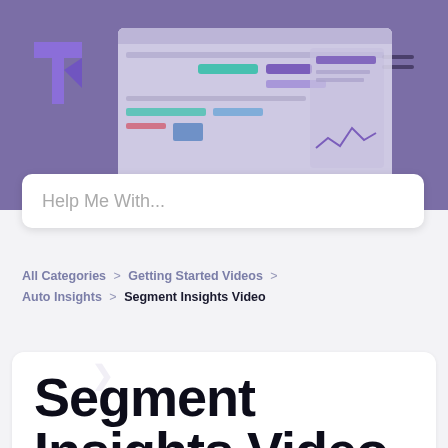[Figure (screenshot): Hero banner with purple background showing a software dashboard mockup screenshot, a purple triangular logo on the left, a hamburger menu icon on the right, and a white search bar with placeholder text 'Help Me With...']
Help Me With...
All Categories > Getting Started Videos > Auto Insights > Segment Insights Video
Segment Insights Video